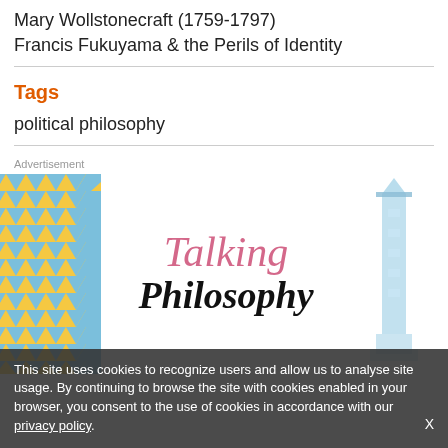Mary Wollstonecraft (1759-1797)
Francis Fukuyama & the Perils of Identity
Tags
political philosophy
Advertisement
[Figure (illustration): Book cover advertisement for 'Talking Philosophy' with a geometric triangle pattern on the left (gold and blue), pink italic 'Talking' text and bold italic 'Philosophy' text in the center, and a light blue illustrated tower/lighthouse on the right.]
This site uses cookies to recognize users and allow us to analyse site usage. By continuing to browse the site with cookies enabled in your browser, you consent to the use of cookies in accordance with our privacy policy.